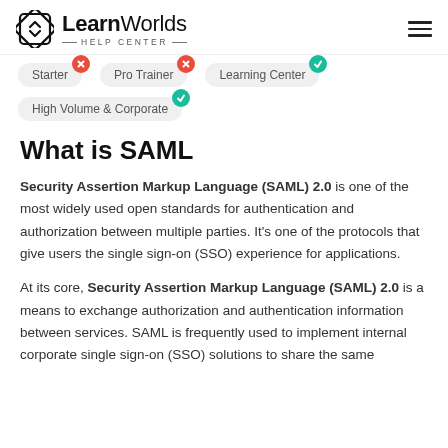LearnWorlds HELP CENTER
[Figure (infographic): Plan availability chips: Starter (red X), Pro Trainer (red X), Learning Center (teal checkmark), High Volume & Corporate (teal checkmark)]
What is SAML
Security Assertion Markup Language (SAML) 2.0 is one of the most widely used open standards for authentication and authorization between multiple parties. It’s one of the protocols that give users the single sign-on (SSO) experience for applications.
At its core, Security Assertion Markup Language (SAML) 2.0 is a means to exchange authorization and authentication information between services. SAML is frequently used to implement internal corporate single sign-on (SSO) solutions to share the same...